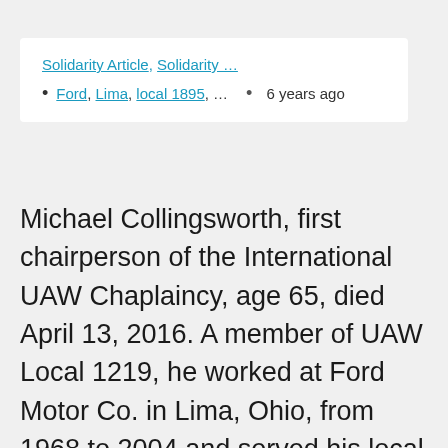Solidarity Article, Solidarity …
Ford, Lima, local 1895, … • 6 years ago
Michael Collingsworth, first chairperson of the International UAW Chaplaincy, age 65, died April 13, 2016. A member of UAW Local 1219, he worked at Ford Motor Co. in Lima, Ohio, from 1968 to 2004 and served his local as its chaplain. He was instrumental in the development of today's UAW chaplaincy program. It began in 1987 when Collingsworth attended a UAW conference in California, where he met with UAW leaders and